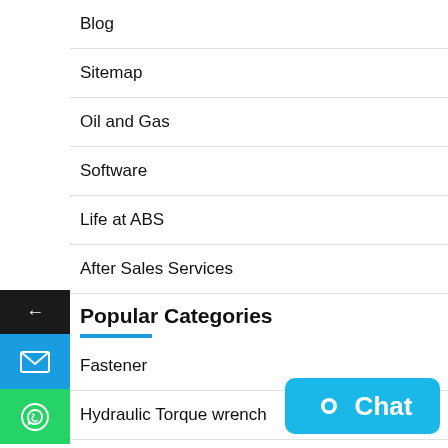Blog
Sitemap
Oil and Gas
Software
Life at ABS
After Sales Services
Popular Categories
Fastener
Hydraulic Torque wrench
Flange Facing
Career